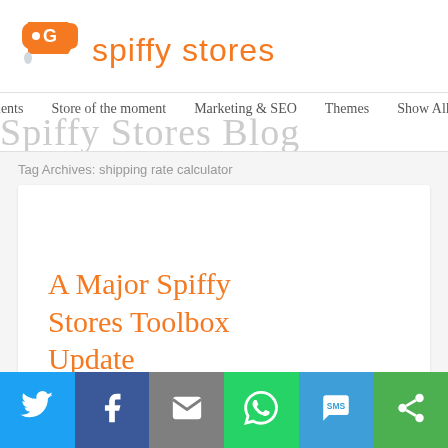[Figure (logo): Spiffy Stores logo: orange price tag icon with 'G' and text 'spiffy stores' in orange]
ments   Store of the moment   Marketing & SEO   Themes   Show All
Spiffy Stores Blog
Tag Archives: shipping rate calculator
A Major Spiffy Stores Toolbox Update
Posted on 21st December 2015
[Figure (infographic): Social share bar with Twitter, Facebook, Email, WhatsApp, SMS, and other share buttons]